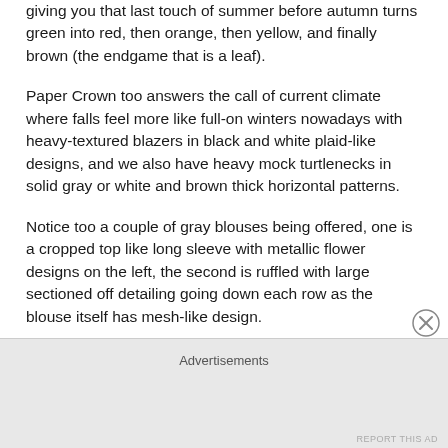giving you that last touch of summer before autumn turns green into red, then orange, then yellow, and finally brown (the endgame that is a leaf).
Paper Crown too answers the call of current climate where falls feel more like full-on winters nowadays with heavy-textured blazers in black and white plaid-like designs, and we also have heavy mock turtlenecks in solid gray or white and brown thick horizontal patterns.
Notice too a couple of gray blouses being offered, one is a cropped top like long sleeve with metallic flower designs on the left, the second is ruffled with large sectioned off detailing going down each row as the blouse itself has mesh-like design.
Advertisements